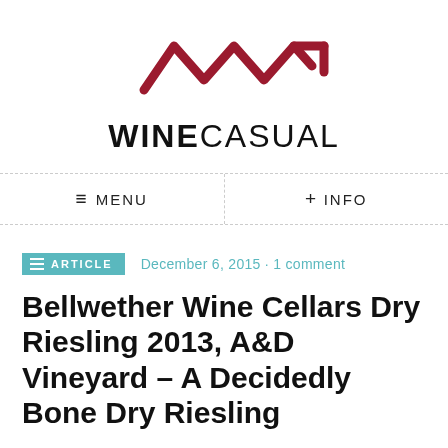[Figure (logo): WineCasual logo with stylized zigzag/mountain line graphic in dark red above the text WINECASUAL in bold and regular weight black letters]
≡ MENU   + INFO
ARTICLE   December 6, 2015 · 1 comment
Bellwether Wine Cellars Dry Riesling 2013, A&D Vineyard – A Decidedly Bone Dry Riesling